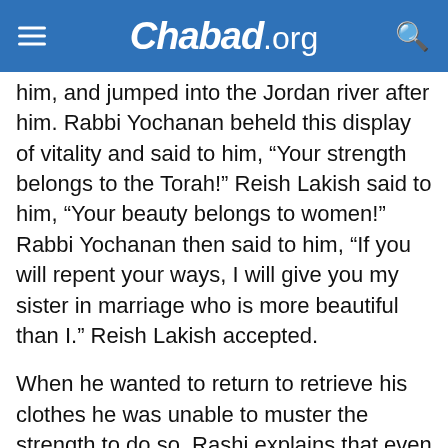Chabad.ORG
him, and jumped into the Jordan river after him. Rabbi Yochanan beheld this display of vitality and said to him, “Your strength belongs to the Torah!” Reish Lakish said to him, “Your beauty belongs to women!” Rabbi Yochanan then said to him, “If you will repent your ways, I will give you my sister in marriage who is more beautiful than I.” Reish Lakish accepted.
When he wanted to return to retrieve his clothes he was unable to muster the strength to do so. Rashi explains that even though Reish Lakish had not yet begun his studies, he had nevertheless accepted the yoke of Torah. This alone made him lose his power